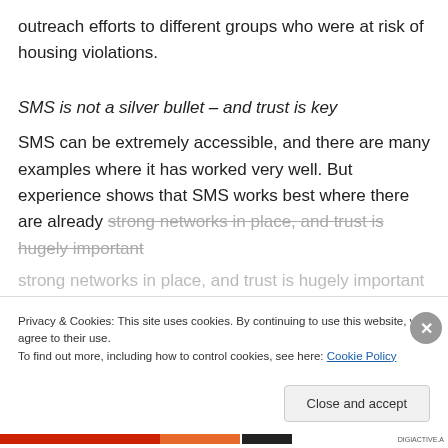outreach efforts to different groups who were at risk of housing violations.
SMS is not a silver bullet – and trust is key
SMS can be extremely accessible, and there are many examples where it has worked very well. But experience shows that SMS works best where there are already strong networks in place, and trust is hugely important
Privacy & Cookies: This site uses cookies. By continuing to use this website, you agree to their use.
To find out more, including how to control cookies, see here: Cookie Policy